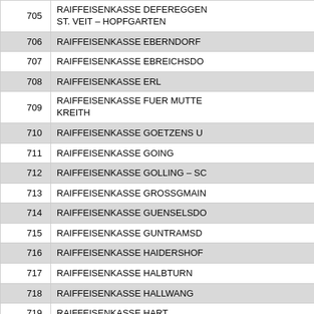| # | Name |
| --- | --- |
| 705 | RAIFFEISENKASSE DEFEREGGEN ST. VEIT – HOPFGARTEN |
| 706 | RAIFFEISENKASSE EBERNDORF |
| 707 | RAIFFEISENKASSE EBREICHSDORF |
| 708 | RAIFFEISENKASSE ERL |
| 709 | RAIFFEISENKASSE FUER MUTTERS UND KREITH |
| 710 | RAIFFEISENKASSE GOETZENS U |
| 711 | RAIFFEISENKASSE GOING |
| 712 | RAIFFEISENKASSE GOLLING – SC |
| 713 | RAIFFEISENKASSE GROSSGMAIN |
| 714 | RAIFFEISENKASSE GUENSELSDORF |
| 715 | RAIFFEISENKASSE GUNTRAMSDORF |
| 716 | RAIFFEISENKASSE HAIDERSHOF |
| 717 | RAIFFEISENKASSE HALBTURN |
| 718 | RAIFFEISENKASSE HALLWANG |
| 719 | RAIFFEISENKASSE HART |
| 720 | RAIFFEISENKASSE HAUSLEITEN |
| 721 | RAIFFEISENKASSE HERZOGENBURG |
| 722 | RAIFFEISENKASSE HIPPACH UND |
| 723 | RAIFFEISENKASSE IM WEINVIERTEL HOLLENBURGERSDORF |